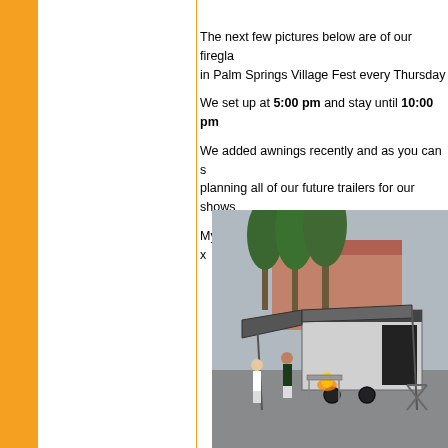The next few pictures below are of our firegla... in Palm Springs Village Fest every Thursday
We set up at 5:00 pm and stay until 10:00 pm
We added awnings recently and as you can s... planning all of our future trailers for our shows
My next Fire Glass showroom trailer is a 24' x
[Figure (photo): Outdoor photo of a Fire Glass showroom trailer with awnings extended, set up at Palm Springs Village Fest. Several people are visible near the trailer, palm trees and buildings in the background, fire visible in a display pit.]